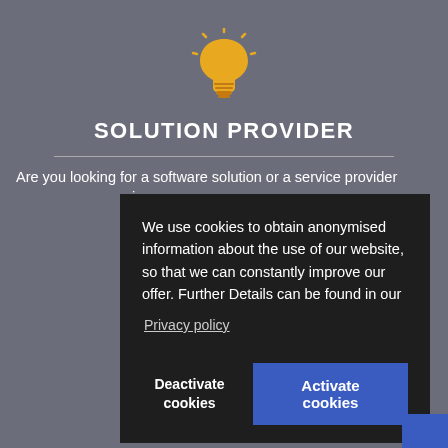[Figure (illustration): Yellow lightbulb icon with rays on gray background]
SOLUTION PROVIDER
Are you looking for a software solution or a service provider i
We use cookies to obtain anonymised information about the use of our website, so that we can constantly improve our offer. Further Details can be found in our
Privacy policy
Deactivate cookies
Activate cookies